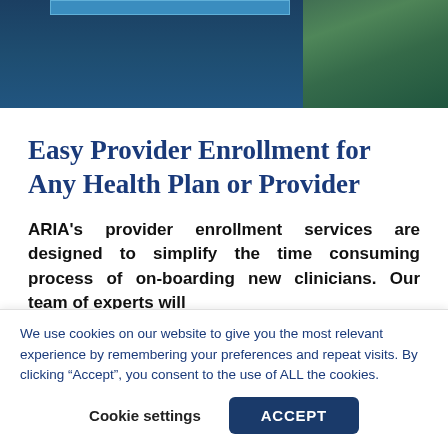[Figure (photo): Hero banner image with dark teal/blue background and a nature photograph on the right side. A light blue horizontal bar appears at the top left.]
Easy Provider Enrollment for Any Health Plan or Provider
ARIA's provider enrollment services are designed to simplify the time consuming process of on-boarding new clinicians. Our team of experts will
We use cookies on our website to give you the most relevant experience by remembering your preferences and repeat visits. By clicking “Accept”, you consent to the use of ALL the cookies.
Cookie settings   ACCEPT